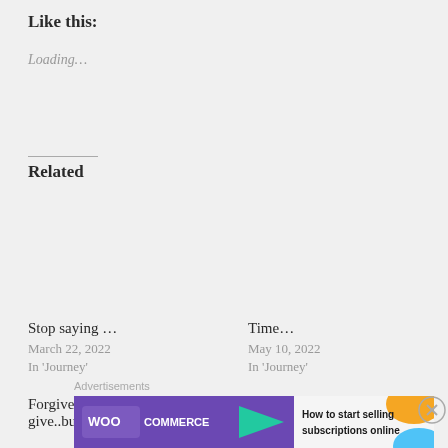Like this:
Loading…
Related
Stop saying …
March 22, 2022
In 'Journey'
Time…
May 10, 2022
In 'Journey'
Forgiveness is difficult to give..but required…
Advertisements
[Figure (infographic): WooCommerce advertisement banner: How to start selling subscriptions online]